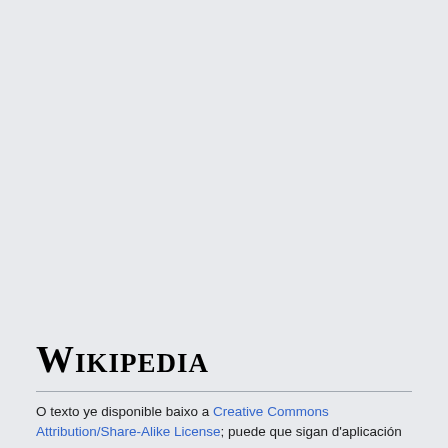Wikipedia
O texto ye disponible baixo a Creative Commons Attribution/Share-Alike License; puede que sigan d'aplicación